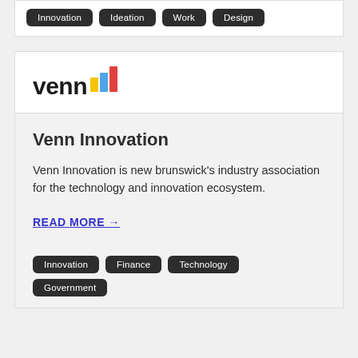Innovation
Ideation
Work
Design
[Figure (logo): Venn logo with colorful bar chart icon and lowercase 'venn' wordmark]
Venn Innovation
Venn Innovation is new brunswick's industry association for the technology and innovation ecosystem.
READ MORE →
Innovation
Finance
Technology
Government